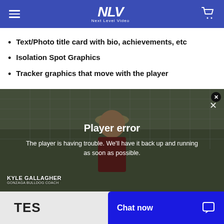NLV Next Level Video
Text/Photo title card with bio, achievements, etc
Isolation Spot Graphics
Tracker graphics that move with the player
[Figure (screenshot): Video player showing a lacrosse field scene with a man in a bucket hat, with a 'Player error' overlay message. Kyle Gallagher, Gonzaga Bulldog Coach label in lower left. Close buttons visible.]
Player error
The player is having trouble. We'll have it back up and running as soon as possible.
KYLE GALLAGHER
Gonzaga Bulldog Coach
TES
Chat now